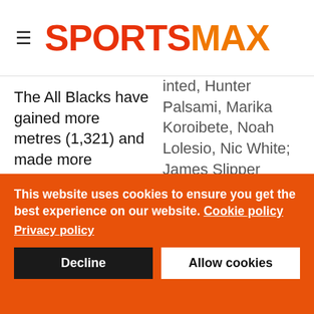SPORTSMAX
The All Blacks have gained more metres (1,321) and made more offloads (27) than any other team in the Rugby Championship this
inted, Hunter Palsami, Marika Koroibete, Noah Lolesio, Nic White; James Slipper (captain), Folau Fainga'a, Allan Alaalatoa, Rory Arnold, Matt Philip,
This website uses cookies to ensure you get the best experience on our website. Cookie policy
Privacy policy
Decline
Allow cookies